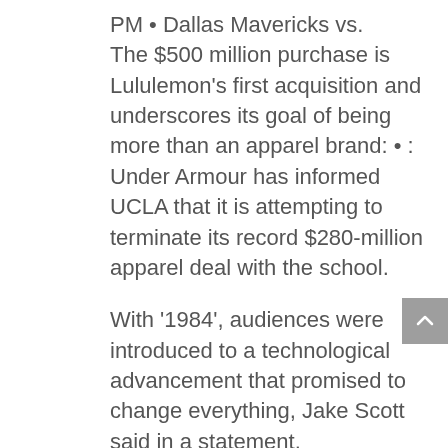PM • Dallas Mavericks vs. The $500 million purchase is Lululemon's first acquisition and underscores its goal of being more than an apparel brand: • : Under Armour has informed UCLA that it is attempting to terminate its record $280-million apparel deal with the school.
With '1984', audiences were introduced to a technological advancement that promised to change everything, Jake Scott said in a statement. Toronto Raptors The Arena, Orlando ESPN 8 PM Aug. 5 • Super Bowl LVIII Mercedes-Benz Superdome New Orleans Feb. Houston Rockets The Arena, Orlando ABC 8